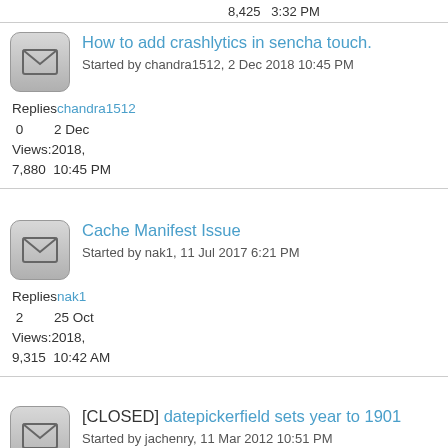8,425  3:32 PM
How to add crashlytics in sencha touch. Started by chandra1512, 2 Dec 2018 10:45 PM
Replies: 0  chandra1512  2 Dec  Views: 2018,  7,880  10:45 PM
Cache Manifest Issue Started by nak1, 11 Jul 2017 6:21 PM
Replies: 2  nak1  25 Oct  Views: 2018,  9,315  10:42 AM
[CLOSED] datepickerfield sets year to 1901 Started by jachenry, 11 Mar 2012 10:51 PM
Replies: 2  sanahari  8 Oct  Views: 2018,  8,267  3:26 AM